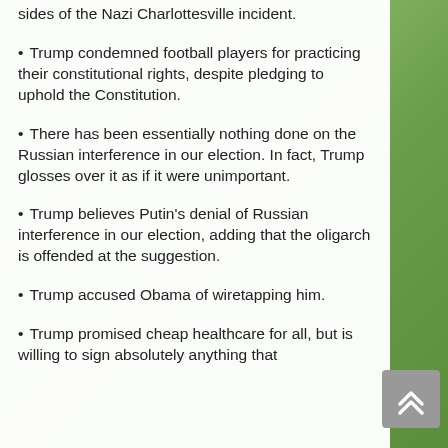sides of the Nazi Charlottesville incident.
• Trump condemned football players for practicing their constitutional rights, despite pledging to uphold the Constitution.
• There has been essentially nothing done on the Russian interference in our election. In fact, Trump glosses over it as if it were unimportant.
• Trump believes Putin's denial of Russian interference in our election, adding that the oligarch is offended at the suggestion.
• Trump accused Obama of wiretapping him.
• Trump promised cheap healthcare for all, but is willing to sign absolutely anything that